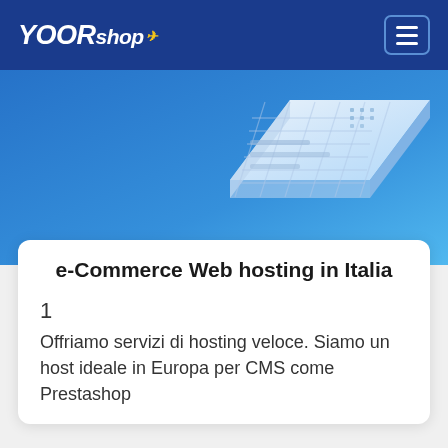YOORshop
[Figure (illustration): Isometric illustration of a laptop/screen on a blue gradient background]
e-Commerce Web hosting in Italia
1
Offriamo servizi di hosting veloce. Siamo un host ideale in Europa per CMS come Prestashop